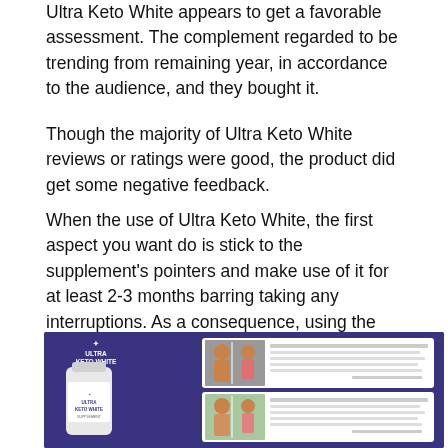Ultra Keto White appears to get a favorable assessment. The complement regarded to be trending from remaining year, in accordance to the audience, and they bought it.
Though the majority of Ultra Keto White reviews or ratings were good, the product did get some negative feedback.
When the use of Ultra Keto White, the first aspect you want do is stick to the supplement's pointers and make use of it for at least 2-3 months barring taking any interruptions. As a consequence, using the weight discount medicinal drug in a single day will have no results. As a result, Ultra Keto White opinions that do no longer adhere to the encouraged dose and use can't be considered.
[Figure (photo): Ultra Keto White product advertisement image on dark purple/navy background. Left side shows the Ultra Keto White logo at top and a white supplement bottle below it. Right side shows two testimonial cards each with before/after photos of people and small text reviews.]